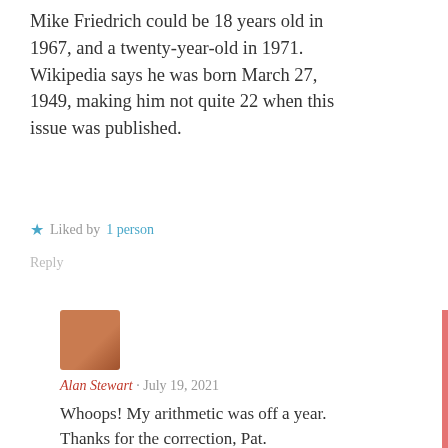Mike Friedrich could be 18 years old in 1967, and a twenty-year-old in 1971. Wikipedia says he was born March 27, 1949, making him not quite 22 when this issue was published.
★ Liked by 1 person
Reply
[Figure (photo): Small avatar photo of a person with reddish background]
Alan Stewart · July 19, 2021
Whoops! My arithmetic was off a year. Thanks for the correction, Pat.
★ Like
Reply